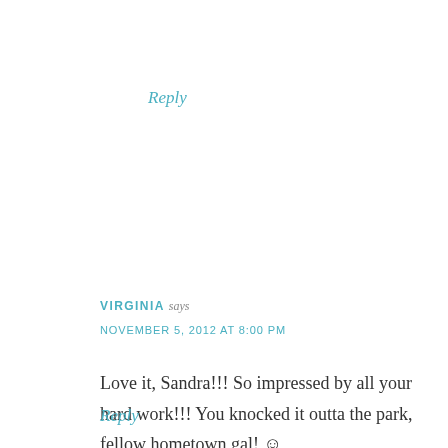Reply
VIRGINIA says
NOVEMBER 5, 2012 AT 8:00 PM
Love it, Sandra!!! So impressed by all your hard work!!! You knocked it outta the park, fellow hometown gal! 🙂
Reply